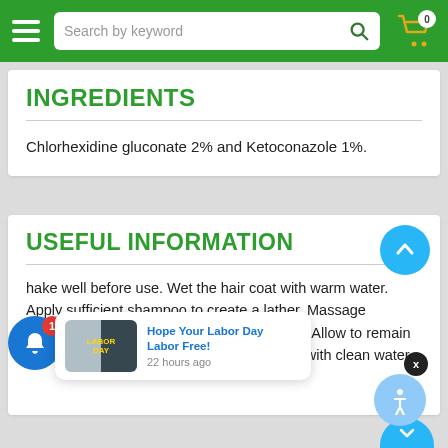Search by keyword (navigation bar with hamburger menu and cart)
INGREDIENTS
Chlorhexidine gluconate 2% and Ketoconazole 1%.
USEFUL INFORMATION
Shake well before use. Wet the hair coat with warm water. Apply sufficient shampoo to create a lather. Massage shampoo into hair coat and skin and repeat. Allow to remain on hair for 5 minutes, then rinse thoroughly with clean water.